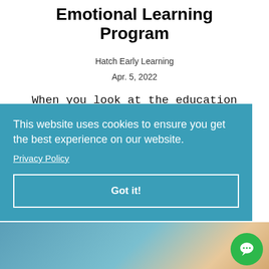Emotional Learning Program
Hatch Early Learning
Apr. 5, 2022
When you look at the education funding you receive as separate layers that can be blended, or braided, together, you can provide even stronger support for your
This website uses cookies to ensure you get the best experience on our website.
Privacy Policy
Got it!